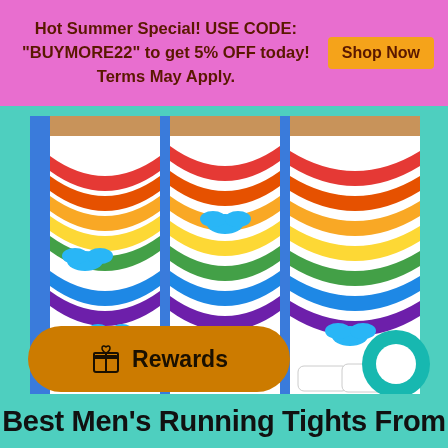Hot Summer Special! USE CODE: "BUYMORE22" to get 5% OFF today! Terms May Apply. Shop Now
[Figure (photo): Three men wearing colorful rainbow and cloud print leggings/running tights, shown from waist down, standing against a blue background]
Rewards
Best Men's Running Tights From